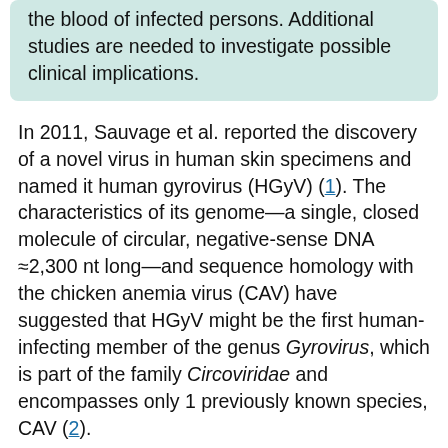the blood of infected persons. Additional studies are needed to investigate possible clinical implications.
In 2011, Sauvage et al. reported the discovery of a novel virus in human skin specimens and named it human gyrovirus (HGyV) (1). The characteristics of its genome—a single, closed molecule of circular, negative-sense DNA ≈2,300 nt long—and sequence homology with the chicken anemia virus (CAV) have suggested that HGyV might be the first human-infecting member of the genus Gyrovirus, which is part of the family Circoviridae and encompasses only 1 previously known species, CAV (2).
The genome of HGyV, which resembles CAV more closely than other members of the family (1,3), contains an untranslated region of ≈380 nt and 3 major partially overlapping open reading frames...